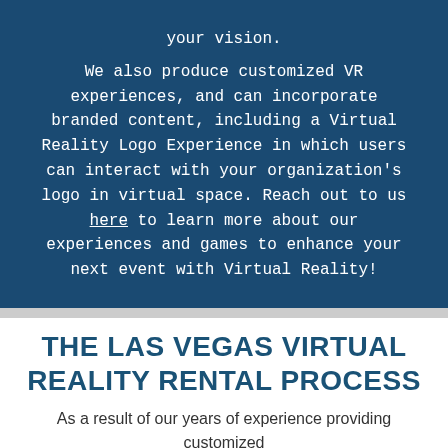We also produce customized VR experiences, and can incorporate branded content, including a Virtual Reality Logo Experience in which users can interact with your organization's logo in virtual space. Reach out to us here to learn more about our experiences and games to enhance your next event with Virtual Reality!
THE LAS VEGAS VIRTUAL REALITY RENTAL PROCESS
As a result of our years of experience providing customized